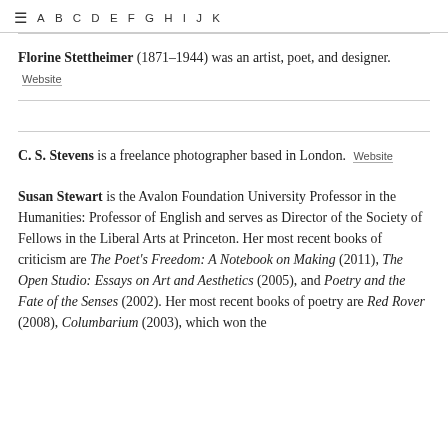☰  A  B  C  D  E  F  G  H  I  J  K
Florine Stettheimer (1871–1944) was an artist, poet, and designer. Website
C. S. Stevens is a freelance photographer based in London. Website
Susan Stewart is the Avalon Foundation University Professor in the Humanities: Professor of English and serves as Director of the Society of Fellows in the Liberal Arts at Princeton. Her most recent books of criticism are The Poet's Freedom: A Notebook on Making (2011), The Open Studio: Essays on Art and Aesthetics (2005), and Poetry and the Fate of the Senses (2002). Her most recent books of poetry are Red Rover (2008), Columbarium (2003), which won the